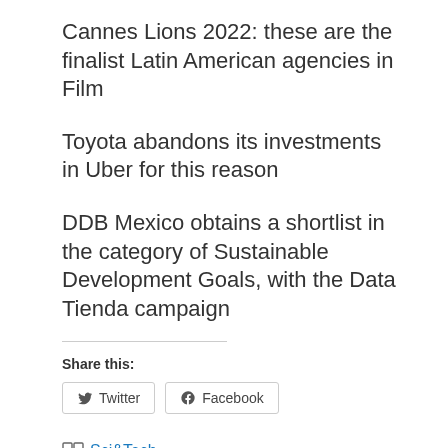Cannes Lions 2022: these are the finalist Latin American agencies in Film
Toyota abandons its investments in Uber for this reason
DDB Mexico obtains a shortlist in the category of Sustainable Development Goals, with the Data Tienda campaign
Share this:
Twitter  Facebook
Sci&Tech
< Videos not consented, age control: in the midst of turmoil, the site Pornhub loses its...